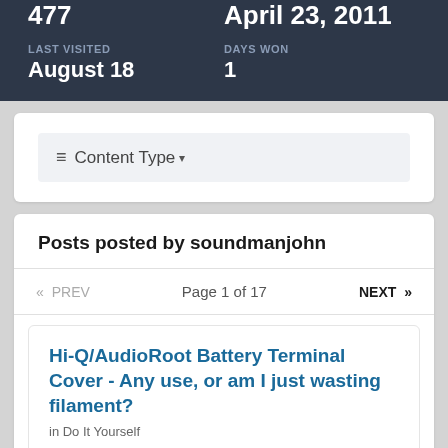477
April 23, 2011
LAST VISITED
DAYS WON
August 18
1
≡ Content Type ▾
Posts posted by soundmanjohn
« PREV   Page 1 of 17   NEXT »
Hi-Q/AudioRoot Battery Terminal Cover - Any use, or am I just wasting filament?
in Do It Yourself
Posted July 2